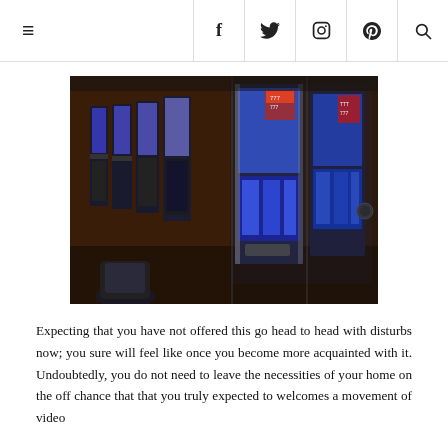≡  f  twitter  instagram  pinterest  search
[Figure (photo): A row of slot machines in a casino, viewed from the side angle showing multiple machines with lit screens receding into the background.]
Expecting that you have not offered this go head to head with disturbs now; you sure will feel like once you become more acquainted with it. Undoubtedly, you do not need to leave the necessities of your home on the off chance that that you truly expected to welcomes a movement of video